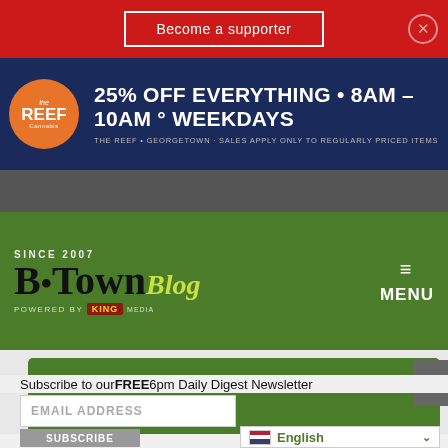Become a supporter
[Figure (infographic): The Reef Cannabis dispensary advertisement: 25% OFF EVERYTHING • 8AM - 10AM ° WEEKDAYS. THE REEF • GEORGETOWN · SALES APPLY ONLY TO REGULARLY PRICED ITEMS]
[Figure (logo): The B•Town Blog logo - Since 2007, Powered by King Media, with hamburger menu icon and MENU text]
SUBSCRIBE TO OUR DAILY EMAIL NEWSLETTER
Subscribe to our FREE 6pm Daily Digest Newsletter
EMAIL ADDRESS
SUBSCRIBE
English